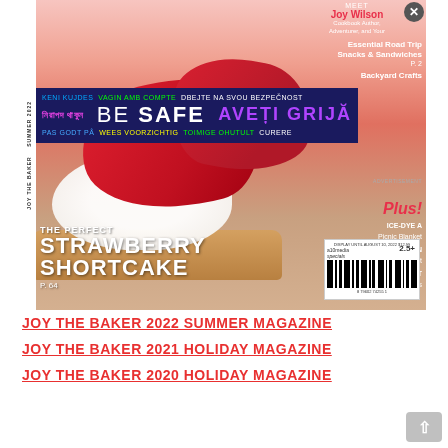[Figure (photo): Magazine cover of Joy the Baker 2022 Summer issue, showing a strawberry shortcake with whipped cream and fresh strawberries on a biscuit base. Cover includes text: Meet Joy Wilson, Cookbook Author, Adventurer, and Your; Essential Road Trip Snacks & Sandwiches P.2; Backyard Crafts; Plus! ICE-DYE A Picnic Blanket; CREATE YOUR OWN Summer Bucket List; MAKE THE BEST Smash Burgers; THE PERFECT STRAWBERRY SHORTCAKE P.64. A safety banner overlay reads: KENI KUJDES VAGIN AMB COMPTE DBEJTE NA SVOU BEZPECNOST / BE SAFE / AVETI GRIJA / PAS GODT PA WEES VOORZICHTIG TOIMIGE OHUTULT. Barcode visible in bottom right corner.]
JOY THE BAKER 2022 SUMMER MAGAZINE
JOY THE BAKER 2021 HOLIDAY MAGAZINE
JOY THE BAKER 2020 HOLIDAY MAGAZINE